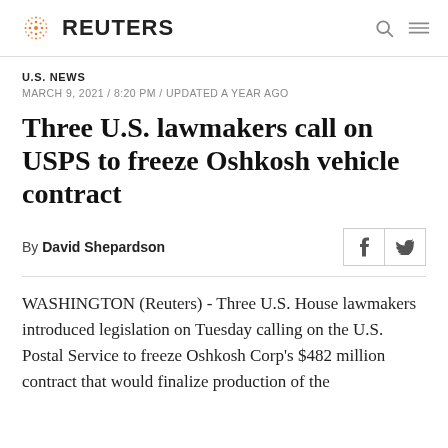REUTERS
U.S. NEWS
MARCH 9, 2021 / 8:20 PM / UPDATED A YEAR AGO
Three U.S. lawmakers call on USPS to freeze Oshkosh vehicle contract
By David Shepardson
WASHINGTON (Reuters) - Three U.S. House lawmakers introduced legislation on Tuesday calling on the U.S. Postal Service to freeze Oshkosh Corp's $482 million contract that would finalize production of the